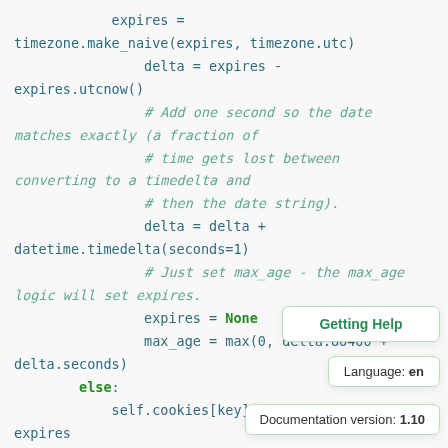[Figure (screenshot): Code snippet showing Python Django cookie handling code with syntax highlighting. Teal/green monospace code on light gray background. Three tooltip overlays visible: 'Getting Help', 'Language: en', 'Documentation version: 1.10'.]